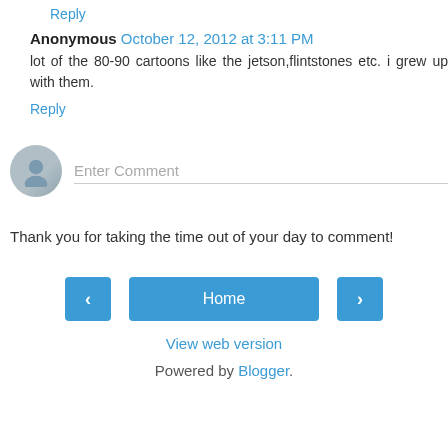Reply
Anonymous  October 12, 2012 at 3:11 PM
lot of the 80-90 cartoons like the jetson,flintstones etc. i grew up with them.
Reply
Enter Comment
Thank you for taking the time out of your day to comment!
‹
Home
›
View web version
Powered by Blogger.